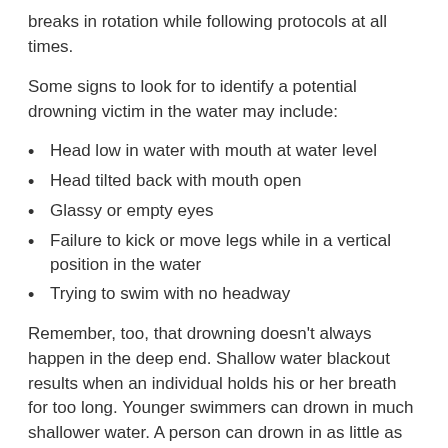breaks in rotation while following protocols at all times.
Some signs to look for to identify a potential drowning victim in the water may include:
Head low in water with mouth at water level
Head tilted back with mouth open
Glassy or empty eyes
Failure to kick or move legs while in a vertical position in the water
Trying to swim with no headway
Remember, too, that drowning doesn't always happen in the deep end. Shallow water blackout results when an individual holds his or her breath for too long. Younger swimmers can drown in much shallower water. A person can drown in as little as 2-3 inches of water in less than 30 seconds.
With proper supervision and awareness, pool owners and operators can prevent a tragedy from occurring and help